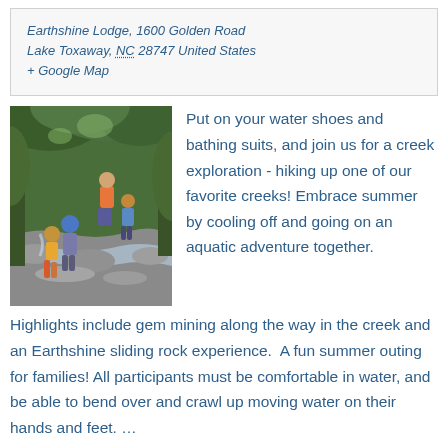Earthshine Lodge, 1600 Golden Road
Lake Toxaway, NC 28747 United States
+ Google Map
[Figure (photo): Children hiking up a rocky creek with green forest in background]
Put on your water shoes and bathing suits, and join us for a creek exploration - hiking up one of our favorite creeks! Embrace summer by cooling off and going on an aquatic adventure together.
Highlights include gem mining along the way in the creek and an Earthshine sliding rock experience.  A fun summer outing for families! All participants must be comfortable in water, and be able to bend over and crawl up moving water on their hands and feet. …
Find out more »
Creek Hike & Gem Mining